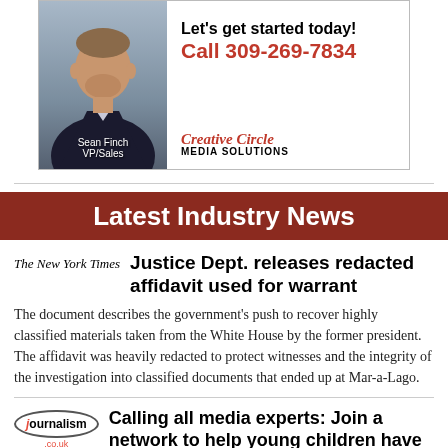[Figure (photo): Advertisement for Creative Circle Media Solutions featuring Sean Finch VP/Sales, with headline 'Let's get started today! Call 309-269-7834']
Latest Industry News
The New York Times   Justice Dept. releases redacted affidavit used for warrant
The document describes the government's push to recover highly classified materials taken from the White House by the former president. The affidavit was heavily redacted to protect witnesses and the integrity of the investigation into classified documents that ended up at Mar-a-Lago.
journalism.co.uk   Calling all media experts: Join a network to help young children have better news diets